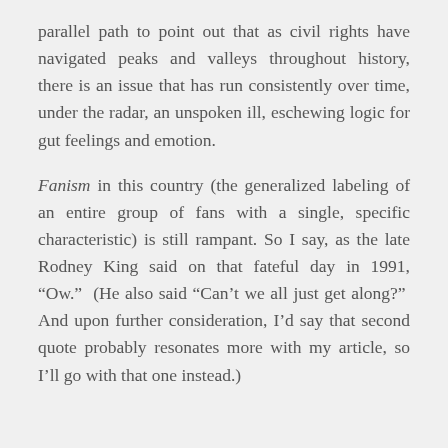parallel path to point out that as civil rights have navigated peaks and valleys throughout history, there is an issue that has run consistently over time, under the radar, an unspoken ill, eschewing logic for gut feelings and emotion.
Fanism in this country (the generalized labeling of an entire group of fans with a single, specific characteristic) is still rampant. So I say, as the late Rodney King said on that fateful day in 1991, “Ow.”  (He also said “Can’t we all just get along?”  And upon further consideration, I’d say that second quote probably resonates more with my article, so I’ll go with that one instead.)